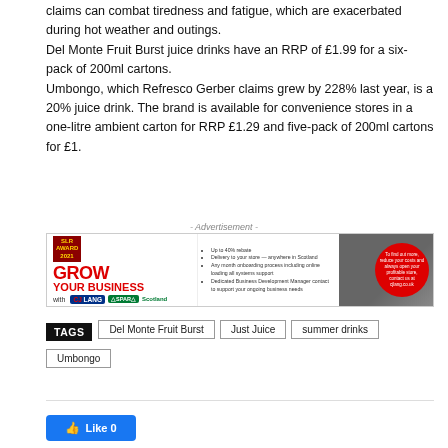claims can combat tiredness and fatigue, which are exacerbated during hot weather and outings.
Del Monte Fruit Burst juice drinks have an RRP of £1.99 for a six-pack of 200ml cartons.
Umbongo, which Refresco Gerber claims grew by 228% last year, is a 20% juice drink. The brand is available for convenience stores in a one-litre ambient carton for RRP £1.29 and five-pack of 200ml cartons for £1.
[Figure (infographic): Advertisement banner for CJ Lang & Sons and SPAR Scotland: 'GROW YOUR BUSINESS with CJ Lang SPAR Scotland' with bullet points about benefits and a red circle image on the right]
TAGS  Del Monte Fruit Burst  Just Juice  summer drinks  Umbongo
[Figure (other): Facebook Like button showing 'Like 0']